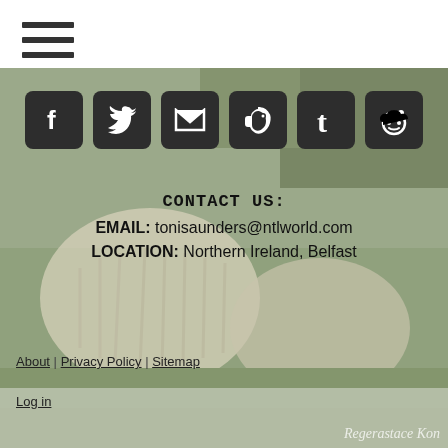[Figure (illustration): Hamburger/menu icon (three horizontal lines) in top-left corner on white background]
[Figure (photo): Background photo of a shaggy dog (appears to be a Bergamasco or similar breed) lying on grass, muted green tones, with social media share icons overlaid at the top]
CONTACT US:
EMAIL: tonisaunders@ntlworld.com
LOCATION: Northern Ireland, Belfast
About | Privacy Policy | Sitemap
Log in
Regerastace Kon